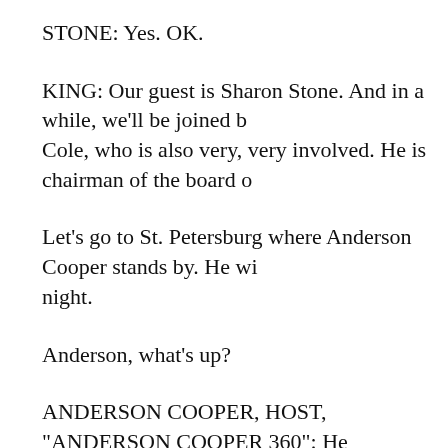STONE: Yes. OK.
KING: Our guest is Sharon Stone. And in a while, we'll be joined b Cole, who is also very, very involved. He is chairman of the board o
Let's go to St. Petersburg where Anderson Cooper stands by. He wi night.
Anderson, what's up?
ANDERSON COOPER, HOST, "ANDERSON COOPER 360": He
Coming up at the top of the hour on "360," we are live from St. Pet Tomorrow night, this is the stage where GOP presidential hopefuls questions in our second CNN/YouTube debate.